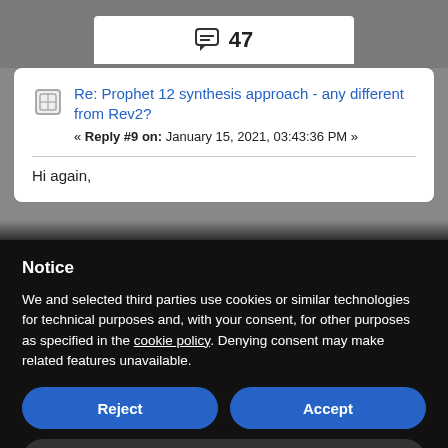[Figure (screenshot): Top gray bar with white reply count box showing a speech bubble icon and the number 47]
Re: Prophet 12 synthesis approach - any different from Rev2?
« Reply #9 on: January 15, 2021, 03:43:36 PM »
Hi again,
Notice
We and selected third parties use cookies or similar technologies for technical purposes and, with your consent, for other purposes as specified in the cookie policy. Denying consent may make related features unavailable.
Reject
Accept
Learn more and customize